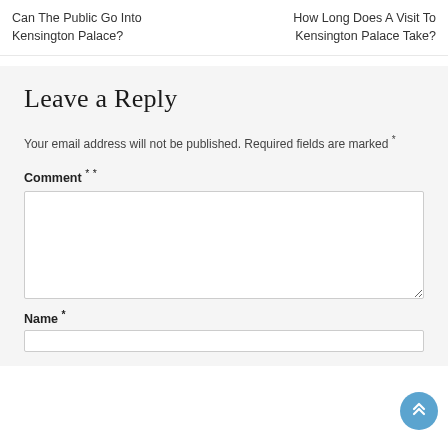Can The Public Go Into Kensington Palace?
How Long Does A Visit To Kensington Palace Take?
Leave a Reply
Your email address will not be published. Required fields are marked *
Comment **
Name *